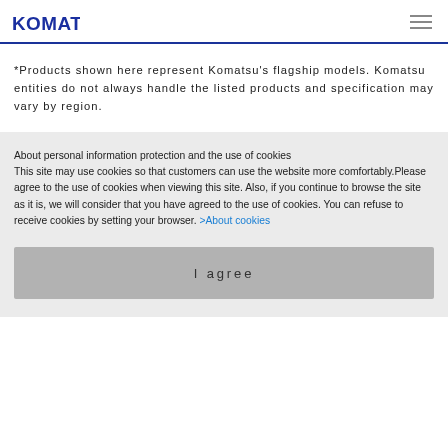KOMATSU
*Products shown here represent Komatsu's flagship models. Komatsu entities do not always handle the listed products and specification may vary by region.
About personal information protection and the use of cookies
This site may use cookies so that customers can use the website more comfortably. Please agree to the use of cookies when viewing this site. Also, if you continue to browse the site as it is, we will consider that you have agreed to the use of cookies. You can refuse to receive cookies by setting your browser. >About cookies
I agree